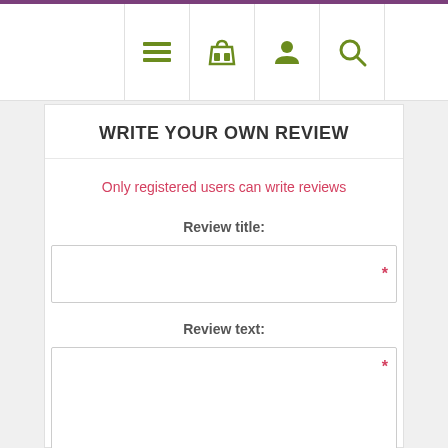[Figure (screenshot): Navigation bar with menu, basket, user, and search icons in olive/green color]
WRITE YOUR OWN REVIEW
Only registered users can write reviews
Review title:
Review text: